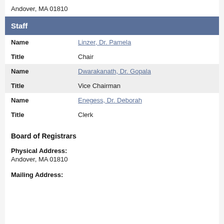Andover, MA 01810
| Name | Linzer, Dr. Pamela |
| Title | Chair |
| Name | Dwarakanath, Dr. Gopala |
| Title | Vice Chairman |
| Name | Enegess, Dr. Deborah |
| Title | Clerk |
Board of Registrars
Physical Address:
Andover, MA 01810
Mailing Address: